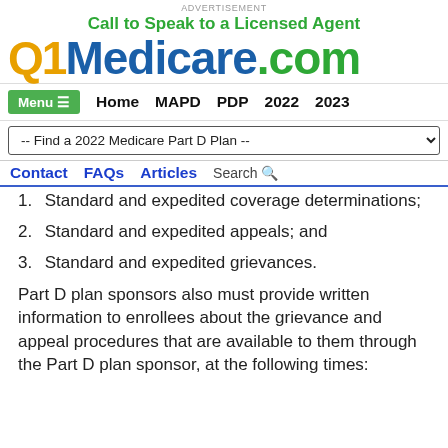ADVERTISEMENT
Call to Speak to a Licensed Agent
Q1Medicare.com
Menu ≡  Home  MAPD  PDP  2022  2023
-- Find a 2022 Medicare Part D Plan --
Contact  FAQs  Articles  Search
1. Standard and expedited coverage determinations;
2. Standard and expedited appeals; and
3. Standard and expedited grievances.
Part D plan sponsors also must provide written information to enrollees about the grievance and appeal procedures that are available to them through the Part D plan sponsor, at the following times: